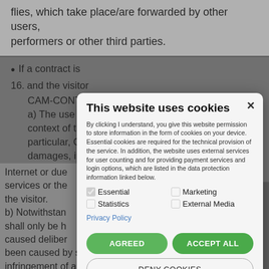flies, which take place/are forwarded by other users, performers or other third parties.
If a contract is ...
16. and the visitor ... CAM-CONTENT...
a) The use of ... context of this ... particular, CAM- ... damages, incl... caused by dow... Internet or due ... services or the ... the visitor.
b) Notwithstan... shall only be h... caused deliber... been caused by simply negligent infringement of a ...
[Figure (screenshot): Cookie consent modal dialog over a grayed-out background legal page. Modal title: 'This website uses cookies'. Body text explaining cookie usage. Checkboxes for Essential (checked), Marketing (unchecked), Statistics (unchecked), External Media (unchecked). Privacy Policy link. Two green buttons: AGREED and ACCEPT ALL. One outlined button: DENY COOKIES. Close (×) button in top right.]